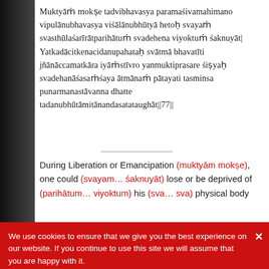Muktyāṁ mokṣe tadvibhavasya paramaśivamahimano vipulānubhavasya viśālānubhūtyā hetoḥ svayaṁ svasthūlaśarīrātparihātuṁ svadehena viyoktuṁ śaknuyāt| Yatkadācitkenacidanupahataḥ svātmā bhavatīti jñānāccamatkāra iyāṁstīvro yanmuktiprasare śiṣyaḥ svadehanāśasaṁśaya ātmānaṁ pātayati tasminsa punarmanastāvanna dhatte tadanubhūtāmitānandasatataughāt||77||
During Liberation or Emancipation (muktyām mokṣe), one could (svayam… śaknuyāt) lose or be deprived of (parihātum… viyoktum) his (sva… sva) physical body (sthūla-śarīrāt… dehena) because of (hetoḥ) the massive Experience (vipula-anubhavasya viśāla-anubhūtyām) of His Glory (tad-vibhavasya), i.e. (because of the massive Experience) of the Greatness of Paramaśiva (parama-śiva-mahimanaḥ). The student (śiṣyaḥ) in discovering (jñānāt) that (yad) Self (Svātmā) has never been affected by anything (kadācid-kenacid-anupahataḥ)
We use cookies to ensure that we give you the best experience on our website. If you continue to use this site we will assume that you are happy with it.